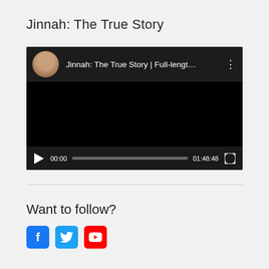Jinnah: The True Story
[Figure (screenshot): Embedded YouTube video player showing 'Jinnah: The True Story | Full-lengt...' with a channel avatar, black video area, and controls showing 00:00 start time, progress bar, 01:48:48 duration, and fullscreen button.]
Want to follow?
[Figure (infographic): Row of three social media icon buttons: Facebook (blue), Twitter (blue), YouTube (red)]